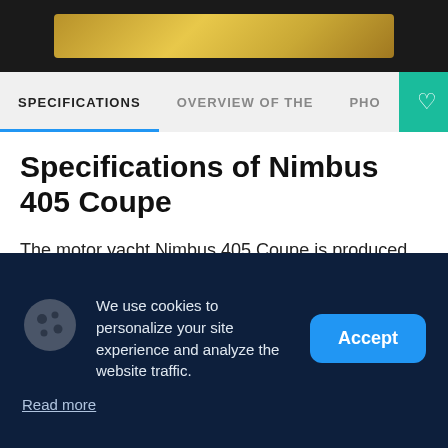[Figure (other): Top black banner with gold/yellow decorative bar]
SPECIFICATIONS  |  OVERVIEW OF THE  |  PHO
Specifications of Nimbus 405 Coupe
The motor yacht Nimbus 405 Coupe is produced by the brand Nimbus since 2013. Nimbus 405 Coupe is a 13.33 meters enclosed hardtop yacht with 3 guest cabins and the draft of 1.05 meters. The yacht with
We use cookies to personalize your site experience and analyze the website traffic.
Read more